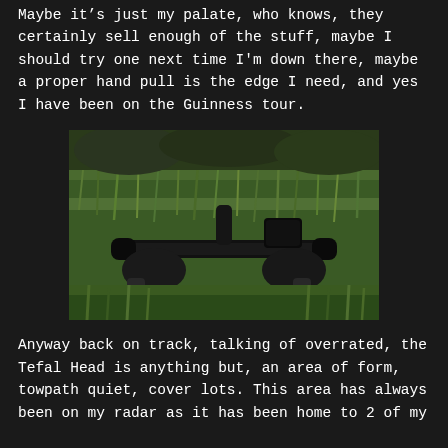Maybe it's just my palate, who knows, they certainly sell enough of the stuff, maybe I should try one next time I'm down there, maybe a proper hand pull is the edge I need, and yes I have been on the Guinness tour.
[Figure (photo): Photo taken from rider's perspective looking down at bicycle handlebars and gloved hands, surrounded by lush green grass along what appears to be a towpath or trail.]
Anyway back on track, talking of overrated, the Tefal Head is anything but, an area of form, towpath quiet, cover lots. This area has always been on my radar as it has been home to 2 of my